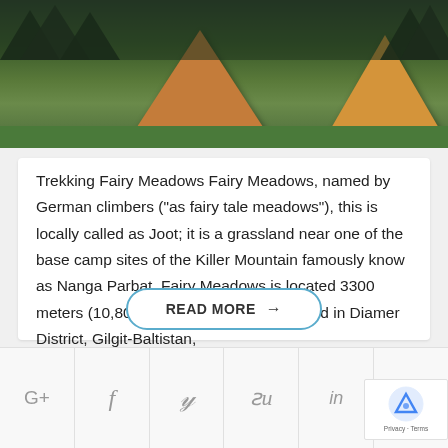[Figure (photo): Outdoor camping scene with orange/yellow tents on a green meadow, dark forest and mountains in background]
Trekking Fairy Meadows Fairy Meadows, named by German climbers (“as fairy tale meadows”), this is locally called as Joot; it is a grassland near one of the base camp sites of the Killer Mountain famously know as Nanga Parbat. Fairy Meadows is located 3300 meters (10,800 ft) above sea level, located in Diamer District, Gilgit-Baltistan,
READ MORE →
[Figure (infographic): Social media sharing icons row: G+, f (Facebook), bird (Twitter), su (StumbleUpon), in (LinkedIn), pin (Pinterest)]